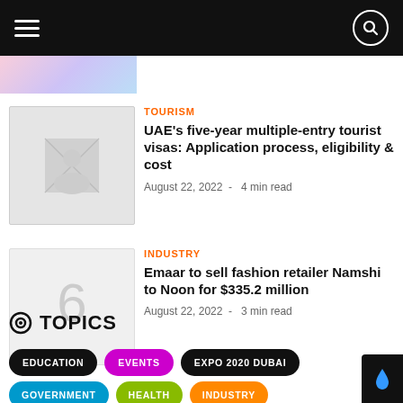Navigation header with menu and search
[Figure (photo): Partial colorful image at top left]
TOURISM
UAE's five-year multiple-entry tourist visas: Application process, eligibility & cost
August 22, 2022  -  4 min read
[Figure (photo): Light gray placeholder image for tourism article]
INDUSTRY
Emaar to sell fashion retailer Namshi to Noon for $335.2 million
August 22, 2022  -  3 min read
[Figure (photo): Light gray placeholder image for industry article]
TOPICS
EDUCATION
EVENTS
EXPO 2020 DUBAI
GOVERNMENT
HEALTH
INDUSTRY